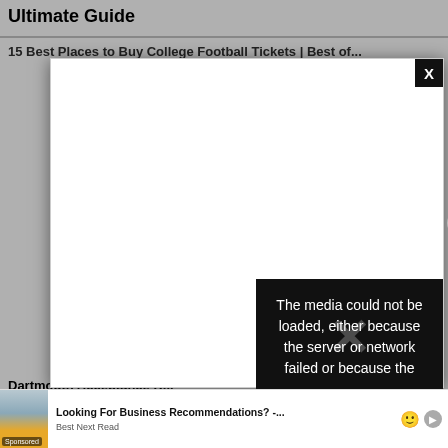Ultimate Guide
15 Best Places to Buy College Football Tickets | Best of...
[Figure (screenshot): Modal dialog box with white content area and black close button (X) in the top-right corner. A media error overlay appears in the lower-right portion with the message: 'The media could not be loaded, either because the server or network failed or because the' and a large faded X icon.]
The media could not be loaded, either because the server or network failed or because the
Dartmouth Acceptance R...
[Figure (screenshot): Advertisement bar at bottom showing a woman in orange top with 'Sponsored' tag, and text 'Looking For Business Recommendations? -... Best Next Read' with emoji and play button icons.]
Looking For Business Recommendations? -... Best Next Read